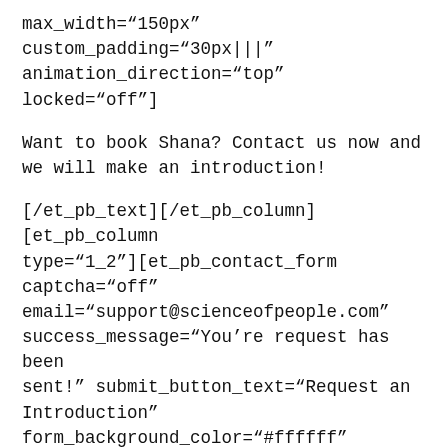max_width="150px" custom_padding="30px|||" animation_direction="top" locked="off"]
Want to book Shana? Contact us now and we will make an introduction!
[/et_pb_text][/et_pb_column][et_pb_column type="1_2"][et_pb_contact_form captcha="off" email="support@scienceofpeople.com" success_message="You’re request has been sent!" submit_button_text="Request an Introduction" form_background_color="#ffffff" module_id="et_pb_contact_form_0" _builder_version="3.12.2" form_field_font="Roboto|on|||" form_field_font_size="16px"